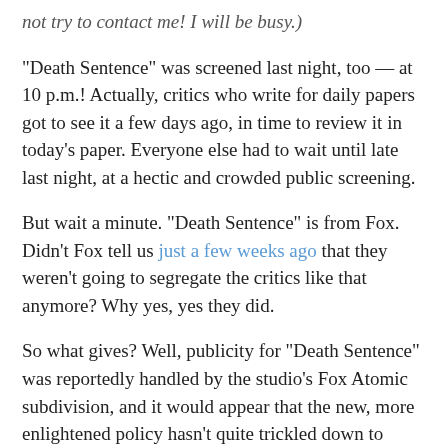not try to contact me! I will be busy.)
“Death Sentence” was screened last night, too — at 10 p.m.! Actually, critics who write for daily papers got to see it a few days ago, in time to review it in today’s paper. Everyone else had to wait until late last night, at a hectic and crowded public screening.
But wait a minute. “Death Sentence” is from Fox. Didn’t Fox tell us just a few weeks ago that they weren’t going to segregate the critics like that anymore? Why yes, yes they did.
So what gives? Well, publicity for “Death Sentence” was reportedly handled by the studio’s Fox Atomic subdivision, and it would appear that the new, more enlightened policy hasn’t quite trickled down to every department yet. When I pointed out the discrepancy between what we were told a few weeks ago and what was actually happening with